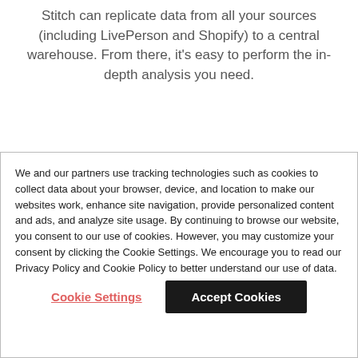Stitch can replicate data from all your sources (including LivePerson and Shopify) to a central warehouse. From there, it's easy to perform the in-depth analysis you need.
We and our partners use tracking technologies such as cookies to collect data about your browser, device, and location to make our websites work, enhance site navigation, provide personalized content and ads, and analyze site usage. By continuing to browse our website, you consent to our use of cookies. However, you may customize your consent by clicking the Cookie Settings. We encourage you to read our Privacy Policy and Cookie Policy to better understand our use of data.
Cookie Settings
Accept Cookies